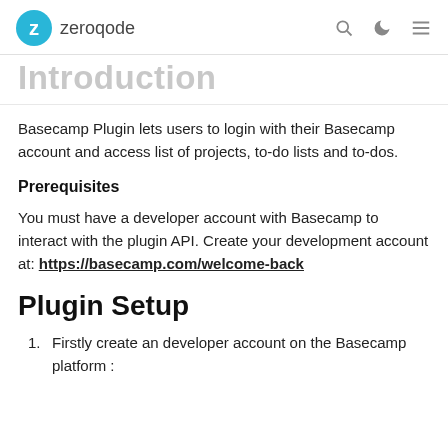zeroqode
Introduction
Basecamp Plugin lets users to login with their Basecamp account and access list of projects, to-do lists and to-dos.
Prerequisites
You must have a developer account with Basecamp to interact with the plugin API. Create your development account at: https://basecamp.com/welcome-back
Plugin Setup
Firstly create an developer account on the Basecamp platform :